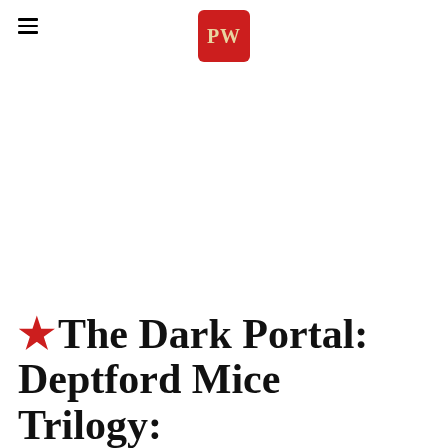PW (Publishers Weekly logo)
★The Dark Portal: Deptford Mice Trilogy: